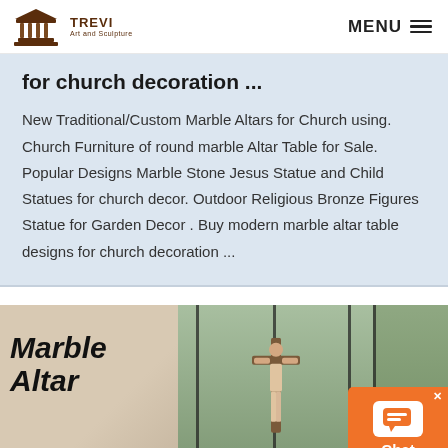[Figure (logo): Trevi Art and Sculpture logo with a classical temple icon and text 'TREVI Art and Sculpture']
MENU ≡
for church decoration ...
New Traditional/Custom Marble Altars for Church using. Church Furniture of round marble Altar Table for Sale. Popular Designs Marble Stone Jesus Statue and Child Statues for church decor. Outdoor Religious Bronze Figures Statue for Garden Decor . Buy modern marble altar table designs for church decoration ...
[Figure (photo): Three-panel image strip: left panel shows 'Marble Altar' text on beige background; middle panel shows a Jesus crucifix statue in front of a window with mountain view; right panel partially shows outdoor scenery. Overlaid text reads 'Cathedral Furniture' and 'Church Altars Designs for Sale'. Orange chat widget in bottom-right corner.]